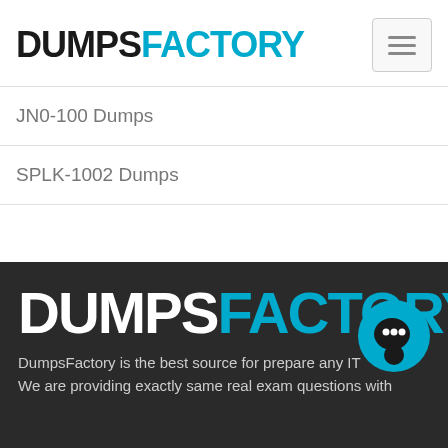[Figure (logo): DumpsFactory logo: DUMPS in black bold, FACTORY in teal/cyan bold, top-left of header]
[Figure (other): Hamburger menu button — three horizontal lines in a rounded rectangle border]
JN0-100 Dumps
SPLK-1002 Dumps
[Figure (logo): DumpsFactory large footer logo: DUMPS in white bold, FACTORY in teal/cyan bold on dark background]
DumpsFactory is the best source for prepare any IT We are providing exactly same real exam questions with